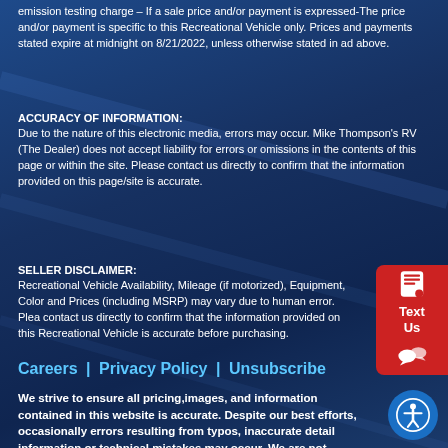emission testing charge – If a sale price and/or payment is expressed-The price and/or payment is specific to this Recreational Vehicle only. Prices and payments stated expire at midnight on 8/21/2022, unless otherwise stated in ad above.
ACCURACY OF INFORMATION:
Due to the nature of this electronic media, errors may occur. Mike Thompson's RV (The Dealer) does not accept liability for errors or omissions in the contents of this page or within the site. Please contact us directly to confirm that the information provided on this page/site is accurate.
SELLER DISCLAIMER:
Recreational Vehicle Availability, Mileage (if motorized), Equipment, Color and Prices (including MSRP) may vary due to human error. Please contact us directly to confirm that the information provided on this Recreational Vehicle is accurate before purchasing.
Careers | Privacy Policy | Unsubscribe
We strive to ensure all pricing,images, and information contained in this website is accurate. Despite our best efforts, occasionally errors resulting from typos, inaccurate detail information or technical mistakes may occur. We are not responsible for any such errors and reserve the right to correct them at any time. Videos, 360's and Brochures are generic. View photos to see colors and